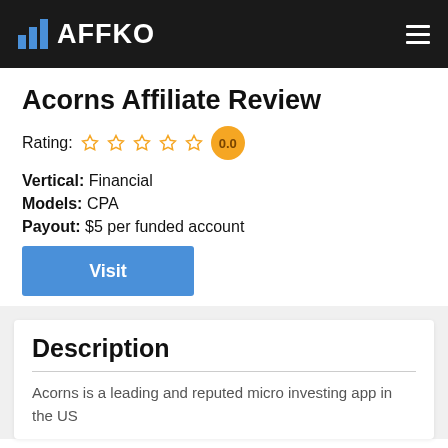AFFKO
Acorns Affiliate Review
Rating: 0.0
Vertical: Financial
Models: CPA
Payout: $5 per funded account
Visit
Description
Acorns is a leading and reputed micro investing app in the US